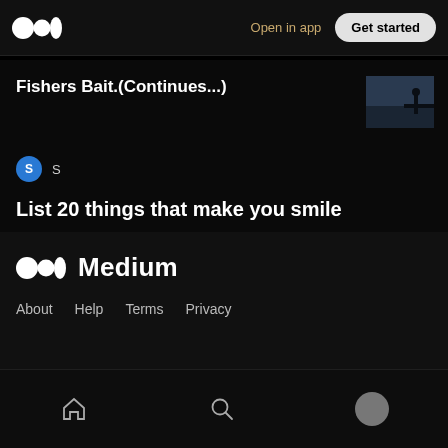Open in app | Get started
Fishers Bait.(Continues...)
S
List 20 things that make you smile
Medium — About  Help  Terms  Privacy